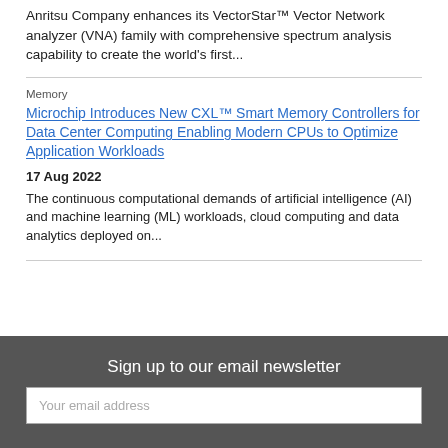Anritsu Company enhances its VectorStar™ Vector Network analyzer (VNA) family with comprehensive spectrum analysis capability to create the world's first...
Memory
Microchip Introduces New CXL™ Smart Memory Controllers for Data Center Computing Enabling Modern CPUs to Optimize Application Workloads
17 Aug 2022
The continuous computational demands of artificial intelligence (AI) and machine learning (ML) workloads, cloud computing and data analytics deployed on...
Sign up to our email newsletter
Your email address